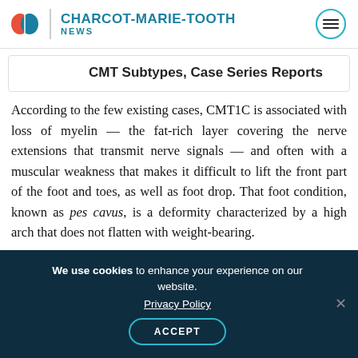CHARCOT-MARIE-TOOTH NEWS
CMT Subtypes, Case Series Reports
According to the few existing cases, CMT1C is associated with loss of myelin — the fat-rich layer covering the nerve extensions that transmit nerve signals — and often with a muscular weakness that makes it difficult to lift the front part of the foot and toes, as well as foot drop. That foot condition, known as pes cavus, is a deformity characterized by a high arch that does not flatten with weight-bearing.
We use cookies to enhance your experience on our website. Privacy Policy ACCEPT